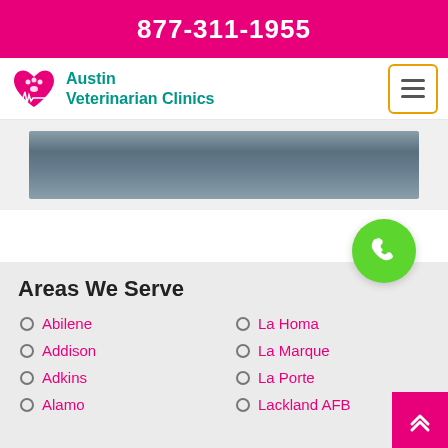877-311-1955
[Figure (logo): Austin Veterinarian Clinics logo with heart and paw icon]
[Figure (photo): Partial image strip showing a gray/blue surface]
[Figure (other): Green circular phone button]
Areas We Serve
Abilene
Addison
Adkins
Alamo
La Homa
La Marque
La Porte
Lackland AFB